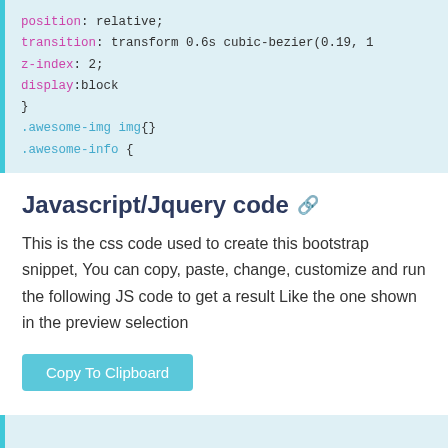[Figure (screenshot): Code block showing CSS properties: position: relative; transition: transform 0.6s cubic-bezier(0.19, 1 ...; z-index: 2; display:block } .awesome-img img{} .awesome-info {]
Javascript/Jquery code 🔗
This is the css code used to create this bootstrap snippet, You can copy, paste, change, customize and run the following JS code to get a result Like the one shown in the preview selection
[Figure (screenshot): Button labeled Copy To Clipboard]
[Figure (screenshot): Code block showing JavaScript: $(function(){ $('.awesome-portfolio-content').mixItUp({ animation: {]